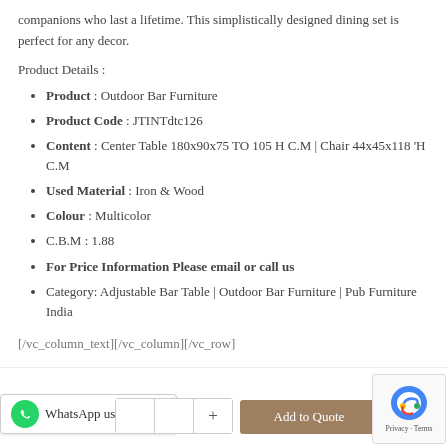companions who last a lifetime. This simplistically designed dining set is perfect for any decor.
Product Details :
Product : Outdoor Bar Furniture
Product Code : JTINTdtc126
Content : Center Table 180x90x75 TO 105 H C.M | Chair 44x45x118 'H C.M
Used Material : Iron & Wood
Colour : Multicolor
C.B.M : 1.88
For Price Information Please email or call us
Category: Adjustable Bar Table | Outdoor Bar Furniture | Pub Furniture India
[/vc_column_text][/vc_column][/vc_row]